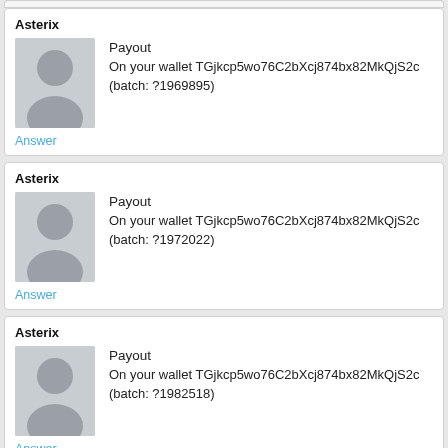Asterix
Payout
On your wallet TGjkcp5wo76C2bXcj874bx82MkQjS2c (batch: ?1969895)
Answer
Asterix
Payout
On your wallet TGjkcp5wo76C2bXcj874bx82MkQjS2c (batch: ?1972022)
Answer
Asterix
Payout
On your wallet TGjkcp5wo76C2bXcj874bx82MkQjS2c (batch: ?1982518)
Answer